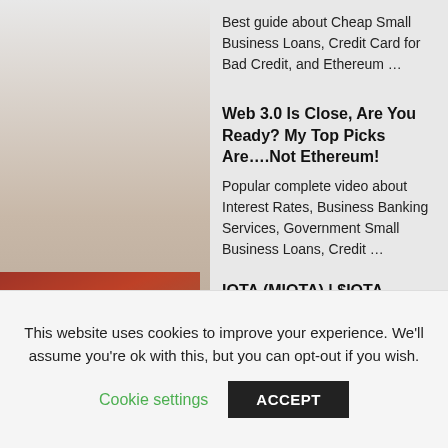Best guide about Cheap Small Business Loans, Credit Card for Bad Credit, and Ethereum …
Web 3.0 Is Close, Are You Ready? My Top Picks Are….Not Ethereum!
Popular complete video about Interest Rates, Business Banking Services, Government Small Business Loans, Credit …
[Figure (photo): Thumbnail image with orange-red tones, partially visible at bottom-left]
IOTA (MIOTA) | $IOTA TECHNICAL
This website uses cookies to improve your experience. We'll assume you're ok with this, but you can opt-out if you wish.
Cookie settings   ACCEPT